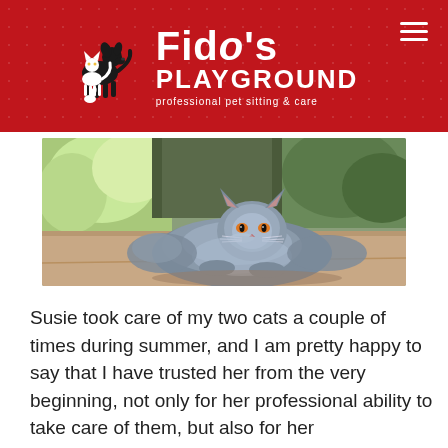[Figure (logo): Fido's Playground logo: silhouettes of a dog, cat, and small pet in white and black on red background, with text 'Fido's Playground - professional pet sitting & care']
[Figure (photo): A large fluffy gray Persian cat lying on a patio/outdoor surface, looking at the camera with orange eyes. Green foliage visible in the background.]
Susie took care of my two cats a couple of times during summer, and I am pretty happy to say that I have trusted her from the very beginning, not only for her professional ability to take care of them, but also for her understanding of my fears as "pet